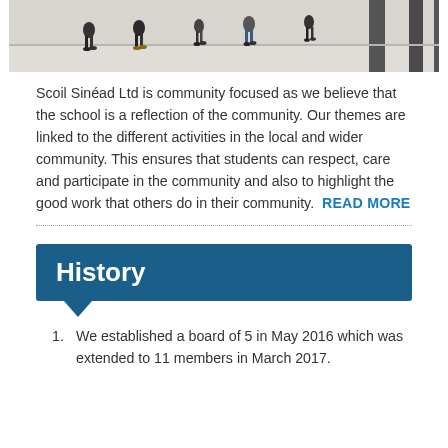[Figure (photo): Photograph of people walking, viewed from above/behind, on a light-colored surface with dark vertical pillars visible at right.]
Scoil Sinéad Ltd is community focused as we believe that the school is a reflection of the community. Our themes are linked to the different activities in the local and wider community. This ensures that students can respect, care and participate in the community and also to highlight the good work that others do in their community.  READ MORE
History
We established a board of 5 in May 2016 which was extended to 11 members in March 2017.